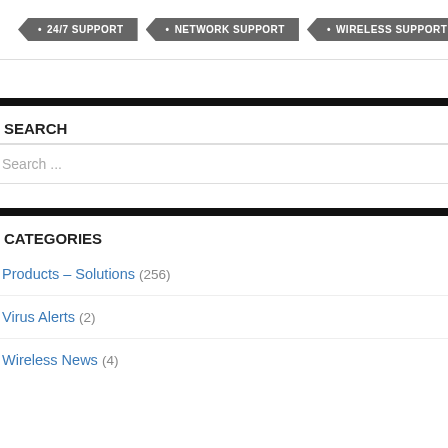• 24/7 SUPPORT
• NETWORK SUPPORT
• WIRELESS SUPPORT
SEARCH
Search ...
CATEGORIES
Products – Solutions (256)
Virus Alerts (2)
Wireless News (4)